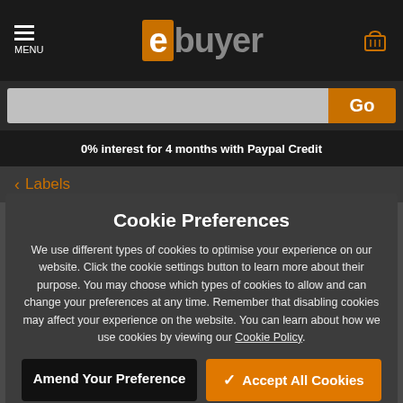ebuyer MENU
0% interest for 4 months with Paypal Credit
< Labels
Cookie Preferences
We use different types of cookies to optimise your experience on our website. Click the cookie settings button to learn more about their purpose. You may choose which types of cookies to allow and can change your preferences at any time. Remember that disabling cookies may affect your experience on the website. You can learn about how we use cookies by viewing our Cookie Policy.
Amend Your Preference
Accept All Cookies